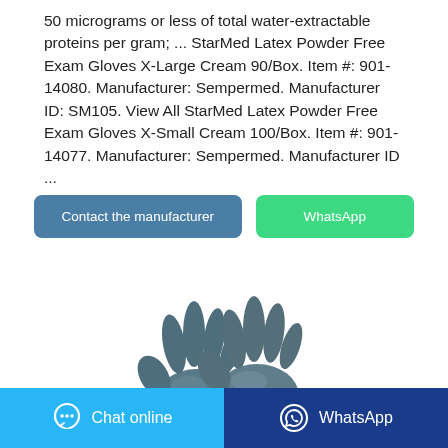50 micrograms or less of total water-extractable proteins per gram; ... StarMed Latex Powder Free Exam Gloves X-Large Cream 90/Box. Item #: 901-14080. Manufacturer: Sempermed. Manufacturer ID: SM105. View All StarMed Latex Powder Free Exam Gloves X-Small Cream 100/Box. Item #: 901-14077. Manufacturer: Sempermed. Manufacturer ID ...
[Figure (other): Two dark grey/blue nitrile or latex exam gloves displayed overlapping against a white background]
Chat online   WhatsApp